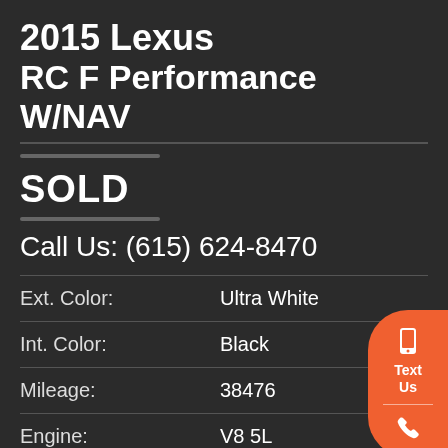2015 Lexus RC F Performance W/NAV
SOLD
Call Us: (615) 624-8470
| Field | Value |
| --- | --- |
| Ext. Color: | Ultra White |
| Int. Color: | Black |
| Mileage: | 38476 |
| Engine: | V8 5L |
| Trans: | A |
| VIN# | JTHHP5RC5F5002596 |